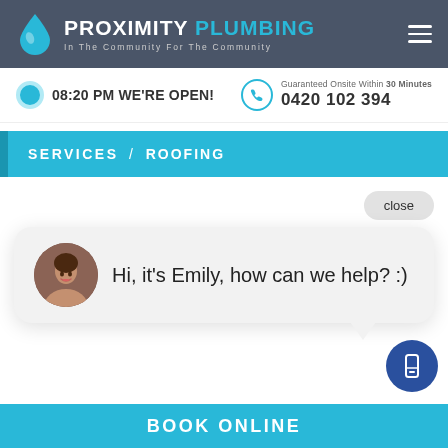[Figure (logo): Proximity Plumbing logo with water drop icon and tagline 'In The Community For The Community']
08:20 PM WE'RE OPEN!
Guaranteed Onsite Within 30 Minutes
0420 102 394
SERVICES / ROOFING
close
Hi, it's Emily, how can we help? :)
BOOK ONLINE